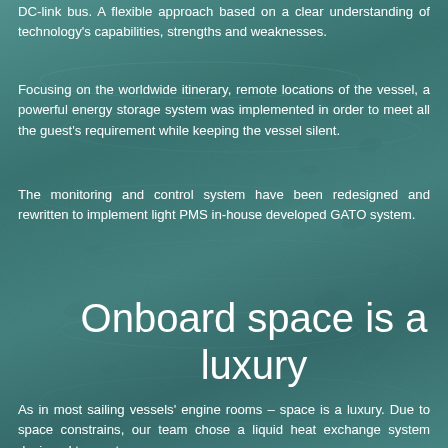DC-link bus. A flexible approach based on a clear understanding of technology's capabilities, strengths and weaknesses.
Focusing on the worldwide itinerary, remote locations of the vessel, a powerful energy storage system was implemented in order to meet all the guest's requirement while keeping the vessel silent.
The monitoring and control system have been redesigned and rewritten to implement light PMS in-house developed GATO system.
Onboard space is a luxury
As in most sailing vessels' engine rooms – space is a luxury. Due to space constrains, our team chose a liquid heat exchange system designed to meet